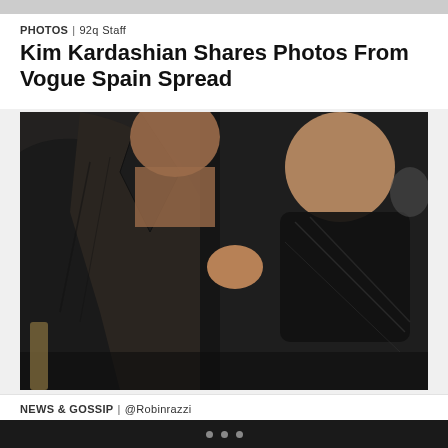PHOTOS | 92q Staff
Kim Kardashian Shares Photos From Vogue Spain Spread
[Figure (photo): Photo of Kim Kardashian in a black leather jacket holding a toddler (North West) dressed in black sheer outfit, at what appears to be an indoor event.]
NEWS & GOSSIP | @Robinrazzi
Kim Kardashian Reveals Just How Girly North West Really Is
• • •